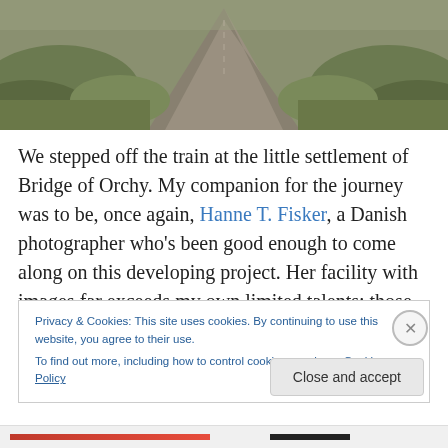[Figure (photo): A dirt/gravel road stretching into the distance through moorland or grassland, photographed from a low angle looking ahead, with green-brown vegetation on both sides.]
We stepped off the train at the little settlement of Bridge of Orchy. My companion for the journey was to be, once again, Hanne T. Fisker, a Danish photographer who's been good enough to come along on this developing project. Her facility with images far exceeds my own limited talents; those photos we're saving though, so on this post you'll have to make do with mine. I hope they manage to
Privacy & Cookies: This site uses cookies. By continuing to use this website, you agree to their use.
To find out more, including how to control cookies, see here: Cookie Policy